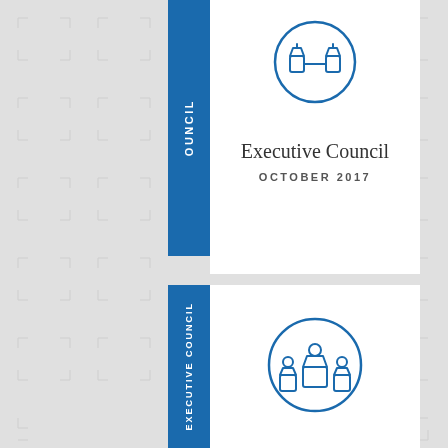[Figure (illustration): Blue circle icon with organizational chart / council symbol — three funnel/person shapes connected]
Executive Council
OCTOBER 2017
[Figure (illustration): Blue circle icon with group of people / organizational council symbol — three figures with central leader]